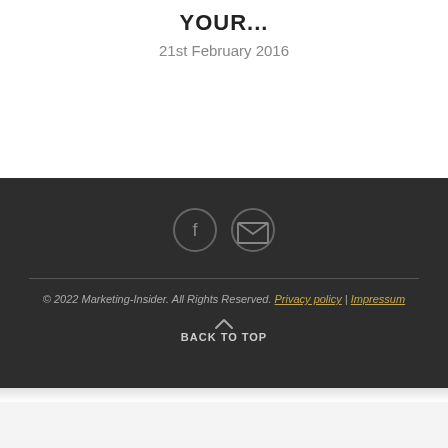YOUR...
21st February 2016
[Figure (illustration): Two circular social media icons: Facebook (f) and Email (envelope), on dark background]
© 2022 Marketing-Insider. All Rights Reserved. Privacy policy | Impressum
BACK TO TOP